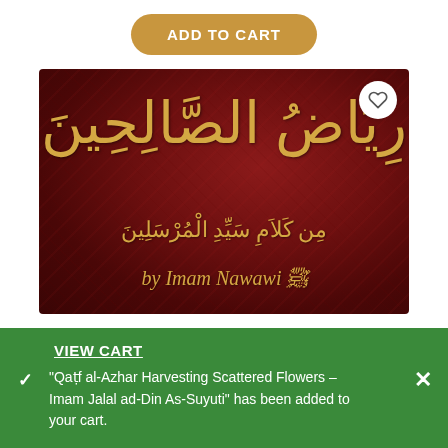[Figure (screenshot): Add to Cart button with golden-brown background and rounded corners]
[Figure (photo): Book cover of Riyadh as-Salihin by Imam Nawawi. Dark red/maroon background with gold Arabic calligraphy title and subtitle, author line reading 'by Imam Nawawi' in gold italic text.]
VIEW CART
"Qatf al-Azhar Harvesting Scattered Flowers – Imam Jalal ad-Din As-Suyuti" has been added to your cart.